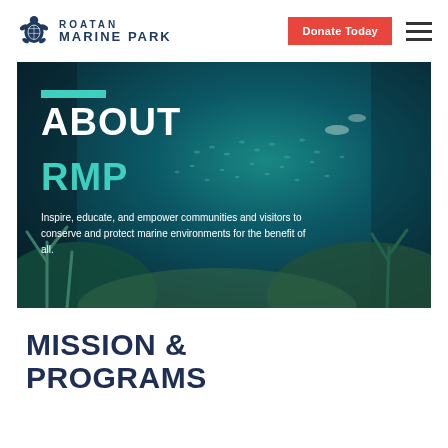Roatan Marine Park — Donate Today
[Figure (photo): Underwater photo of a coral reef with a large school of fish, coral formations, and teal/blue water. Overlaid text reads ABOUT RMP with tagline.]
ABOUT
RMP
Inspire, educate, and empower communities and visitors to conserve and protect marine environments for the benefit of all.
MISSION & PROGRAMS